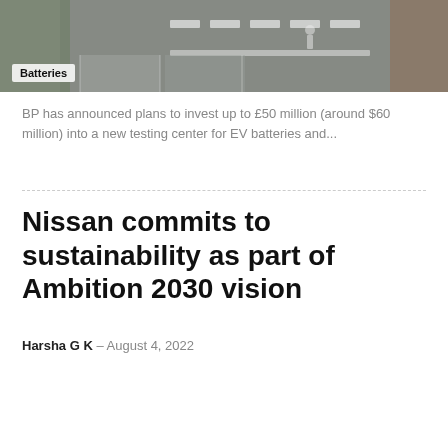[Figure (photo): Aerial or overhead view of a parking lot or road surface with marked lanes, showing a pedestrian crossing area. Muted gray tones with some greenery visible at edges.]
Batteries
BP has announced plans to invest up to £50 million (around $60 million) into a new testing center for EV batteries and...
Nissan commits to sustainability as part of Ambition 2030 vision
Harsha G K – August 4, 2022